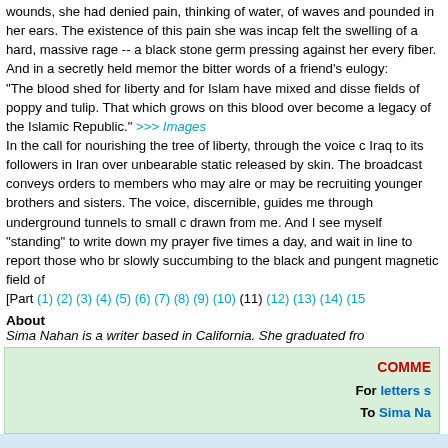wounds, she had denied pain, thinking of water, of waves and pounded in her ears. The existence of this pain she was incap felt the swelling of a hard, massive rage -- a black stone germ pressing against her every fiber. And in a secretly held memor the bitter words of a friend's eulogy:
"The blood shed for liberty and for Islam have mixed and disse fields of poppy and tulip. That which grows on this blood over become a legacy of the Islamic Republic." >>> Images
In the call for nourishing the tree of liberty, through the voice c Iraq to its followers in Iran over unbearable static released by skin. The broadcast conveys orders to members who may alre or may be recruiting younger brothers and sisters. The voice, discernible, guides me through underground tunnels to small c drawn from me. And I see myself "standing" to write down my prayer five times a day, and wait in line to report those who br slowly succumbing to the black and pungent magnetic field of [Part (1) (2) (3) (4) (5) (6) (7) (8) (9) (10) (11) (12) (13) (14) (15
About
Sima Nahan is a writer based in California. She graduated fro
COMME For letters s To Sima Na